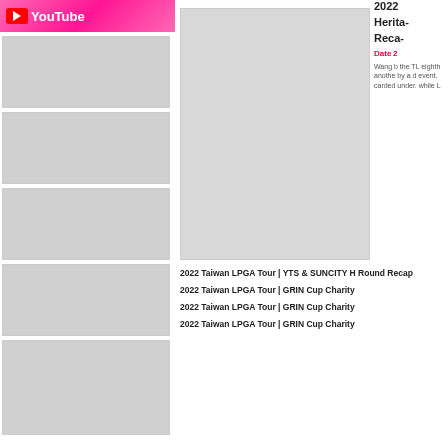[Figure (logo): YouTube logo banner with pink background]
[Figure (photo): Thumbnail placeholder 1 - gray box]
[Figure (photo): Thumbnail placeholder 2 - gray box]
[Figure (photo): Thumbnail placeholder 3 - gray box]
[Figure (photo): Thumbnail placeholder 4 - gray box]
[Figure (photo): Thumbnail placeholder 5 - gray box]
[Figure (photo): Main large image placeholder - gray box]
2022
Heritage
Recap
Date‘2
Wang b the TL eighth anothe by a d event. carded under. while L
2022 Taiwan LPGA Tour | YTS & SUNCITY H Round Recap
2022 Taiwan LPGA Tour | GRIN Cup Charity
2022 Taiwan LPGA Tour | GRIN Cup Charity
2022 Taiwan LPGA Tour | GRIN Cup Charity